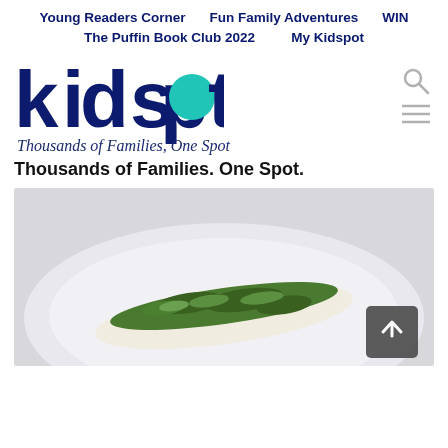Young Readers Corner   Fun Family Adventures   WIN   The Puffin Book Club 2022   My Kidspot
kidspot — Thousands of Families, One Spot
Thousands of Families. One Spot.
[Figure (photo): A piece of herb-crusted fish fillet on a white plate, photographed from above on a white background. A scroll-up button with an upward arrow is overlaid in the bottom-right corner.]